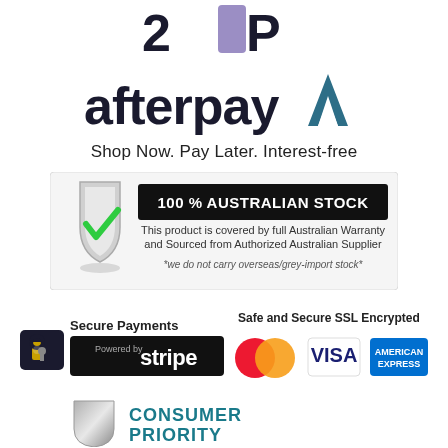[Figure (logo): Zip logo - stylized '2IP' text with purple rectangle replacing the 'I', dark charcoal color]
[Figure (logo): Afterpay logo - 'afterpay' in dark bold text with teal/blue upward arrow 'A7' symbol]
Shop Now. Pay Later. Interest-free
[Figure (infographic): 100% Australian Stock badge - shield with green checkmark, black banner reading '100 % AUSTRALIAN STOCK', text below: 'This product is covered by full Australian Warranty and Sourced from Authorized Australian Supplier', italic text '*we do not carry overseas/grey-import stock*']
[Figure (infographic): Secure Payments section with black padlock icon, 'Secure Payments' label, Stripe powered badge, Safe and Secure SSL Encrypted label, MasterCard logo, Visa logo, American Express logo]
[Figure (logo): Consumer Priority shield logo - metallic grey shield icon with 'CONSUMER PRIORITY' text in teal/blue]